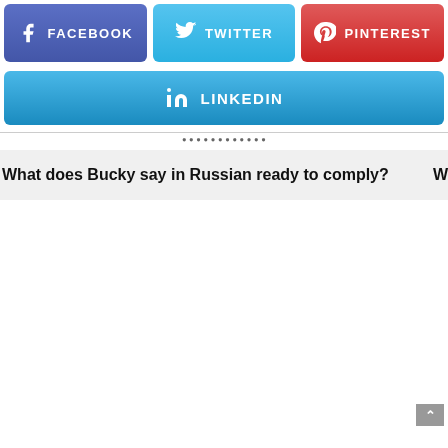[Figure (screenshot): Social share buttons row: Facebook (purple), Twitter (blue), Pinterest (red)]
[Figure (screenshot): LinkedIn share button (blue, full width)]
What does Bucky say in Russian ready to comply?
W